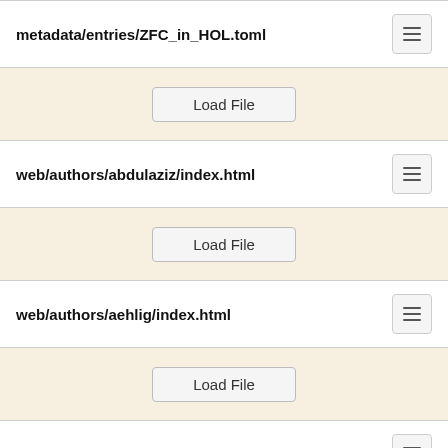metadata/entries/ZFC_in_HOL.toml
Load File
web/authors/abdulaziz/index.html
Load File
web/authors/aehlig/index.html
Load File
web/authors/aissat/index.html
Load File